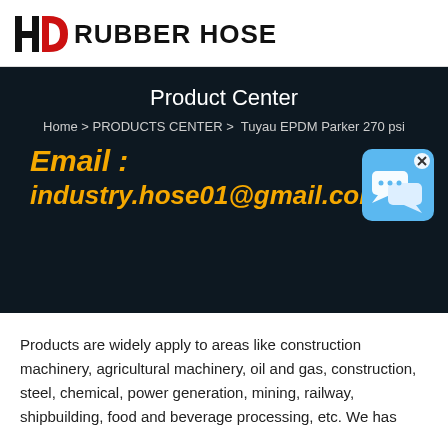HD RUBBER HOSE
Product Center
Home > PRODUCTS CENTER >  Tuyau EPDM Parker 270 psi
Email : industry.hose01@gmail.com
[Figure (illustration): Chat bubble icon in blue rounded square with close X button]
Products are widely apply to areas like construction machinery, agricultural machinery, oil and gas, construction, steel, chemical, power generation, mining, railway, shipbuilding, food and beverage processing, etc. We has